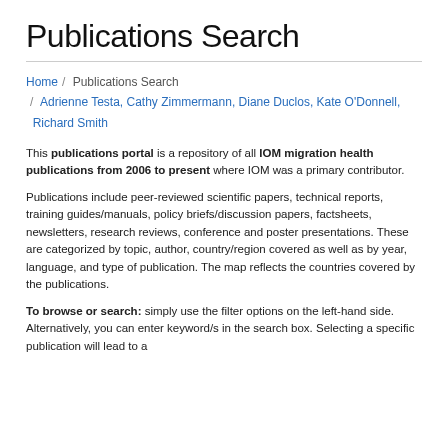Publications Search
Home / Publications Search / Adrienne Testa, Cathy Zimmermann, Diane Duclos, Kate O'Donnell, Richard Smith
This publications portal is a repository of all IOM migration health publications from 2006 to present where IOM was a primary contributor.
Publications include peer-reviewed scientific papers, technical reports, training guides/manuals, policy briefs/discussion papers, factsheets, newsletters, research reviews, conference and poster presentations. These are categorized by topic, author, country/region covered as well as by year, language, and type of publication. The map reflects the countries covered by the publications.
To browse or search: simply use the filter options on the left-hand side. Alternatively, you can enter keyword/s in the search box. Selecting a specific publication will lead to a